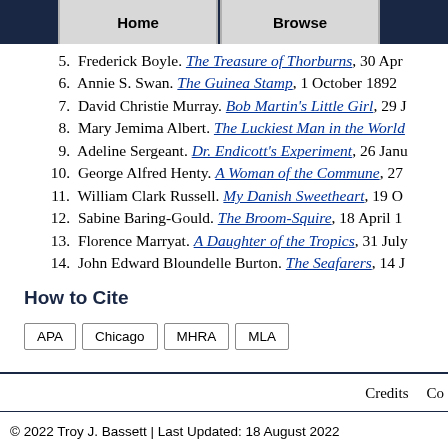Home | Browse
5. Frederick Boyle. The Treasure of Thorburns, 30 Apr
6. Annie S. Swan. The Guinea Stamp, 1 October 1892
7. David Christie Murray. Bob Martin's Little Girl, 29
8. Mary Jemima Albert. The Luckiest Man in the World
9. Adeline Sergeant. Dr. Endicott's Experiment, 26 Janu
10. George Alfred Henty. A Woman of the Commune, 27
11. William Clark Russell. My Danish Sweetheart, 19 O
12. Sabine Baring-Gould. The Broom-Squire, 18 April 1
13. Florence Marryat. A Daughter of the Tropics, 31 July
14. John Edward Bloundelle Burton. The Seafarers, 14
How to Cite
APA | Chicago | MHRA | MLA
Credits | Co
© 2022 Troy J. Bassett | Last Updated: 18 August 2022